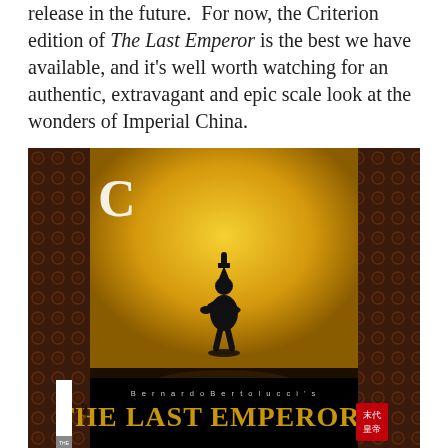release in the future.  For now, the Criterion edition of The Last Emperor is the best we have available, and it's well worth watching for an authentic, extravagant and epic scale look at the wonders of Imperial China.
[Figure (photo): Criterion Collection DVD/Blu-ray cover of 'The Last Emperor' (1987) by Bernardo Bertolucci. A silhouette of a small child (the emperor) stands in front of a large bright yellow doorway, flanked by dark ornate red Chinese architectural elements. Text at bottom reads 'Bernardo Bertolucci's THE LAST EMPEROR' with Chinese characters and a '1987' spine label.]